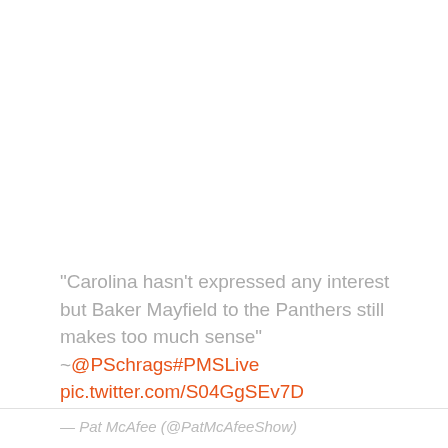"Carolina hasn't expressed any interest but Baker Mayfield to the Panthers still makes too much sense" ~@PSchrags#PMSLive pic.twitter.com/S04GgSEv7D
— Pat McAfee (@PatMcAfeeShow)